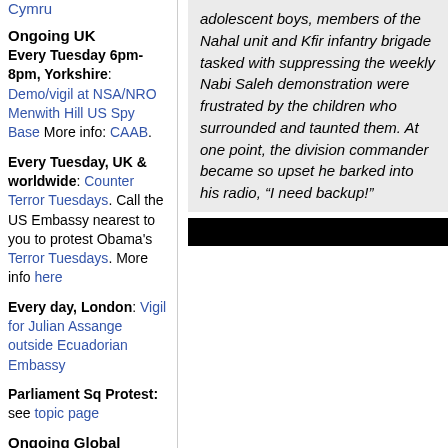Cymru
Ongoing UK
Every Tuesday 6pm-8pm, Yorkshire: Demo/vigil at NSA/NRO Menwith Hill US Spy Base More info: CAAB.
Every Tuesday, UK & worldwide: Counter Terror Tuesdays. Call the US Embassy nearest to you to protest Obama's Terror Tuesdays. More info here
Every day, London: Vigil for Julian Assange outside Ecuadorian Embassy
Parliament Sq Protest: see topic page
Ongoing Global
adolescent boys, members of the Nahal unit and Kfir infantry brigade tasked with suppressing the weekly Nabi Saleh demonstration were frustrated by the children who surrounded and taunted them. At one point, the division commander became so upset he barked into his radio, “I need backup!”
[Figure (other): Black bar/redacted bar spanning the right column]